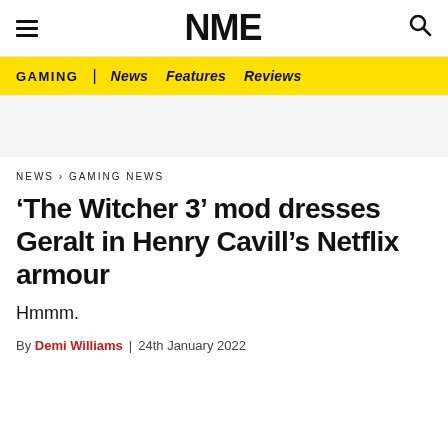NME
GAMING | News  Features  Reviews
NEWS › GAMING NEWS
'The Witcher 3' mod dresses Geralt in Henry Cavill's Netflix armour
Hmmm.
By Demi Williams | 24th January 2022